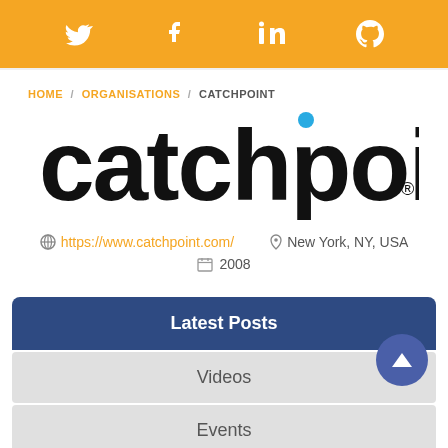Social media icons: Twitter, Facebook, LinkedIn, GitHub
HOME / ORGANISATIONS / CATCHPOINT
[Figure (logo): Catchpoint logo in black lowercase letters with a blue dot above the letter i]
https://www.catchpoint.com/  •  New York, NY, USA  •  2008
Latest Posts
Videos
Events